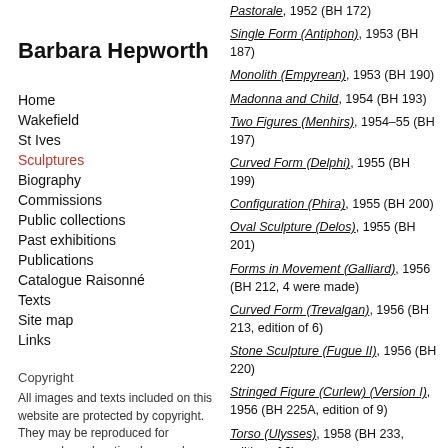Barbara Hepworth
Home
Wakefield
St Ives
Sculptures
Biography
Commissions
Public collections
Past exhibitions
Publications
Catalogue Raisonné
Texts
Site map
Links
Copyright
All images and texts included on this website are protected by copyright. They may be reproduced for personal or educational use only.
Pastorale, 1952 (BH 172)
Single Form (Antiphon), 1953 (BH 187)
Monolith (Empyrean), 1953 (BH 190)
Madonna and Child, 1954 (BH 193)
Two Figures (Menhirs), 1954–55 (BH 197)
Curved Form (Delphi), 1955 (BH 199)
Configuration (Phira), 1955 (BH 200)
Oval Sculpture (Delos), 1955 (BH 201)
Forms in Movement (Galliard), 1956 (BH 212, 4 were made)
Curved Form (Trevalgan), 1956 (BH 213, edition of 6)
Stone Sculpture (Fugue II), 1956 (BH 220)
Stringed Figure (Curlew) (Version I), 1956 (BH 225A, edition of 9)
Torso (Ulysses), 1958 (BH 233, edition of 6)
Cantate Domino, 1958 (BH 244, edition of 6)
Sea Form (Porthmeor), 1958 (BH 249, edition of 7 )
Garden Sculpture (Model for Meridian), 1958 (BH 246, edition of 6)
Figure (Archaean), 1959 (BH 263, edition of 7)